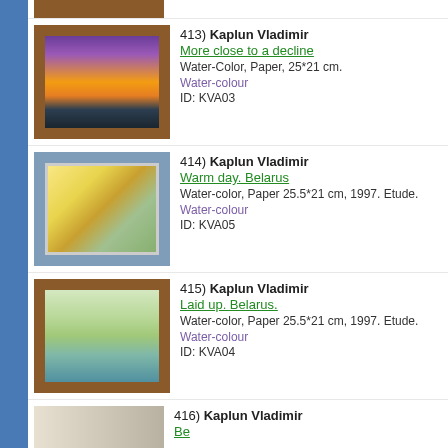[Figure (photo): Partial framed painting at top of page (cropped)]
413) Kaplun Vladimir
More close to a decline
Water-Color, Paper, 25*21 cm.
Water-colour
ID: KVA03
414) Kaplun Vladimir
Warm day. Belarus
Water-color, Paper 25.5*21 cm, 1997. Etude.
Water-colour
ID: KVA05
415) Kaplun Vladimir
Laid up. Belarus.
Water-color, Paper 25.5*21 cm, 1997. Etude.
Water-colour
ID: KVA04
416) Kaplun Vladimir
[partially visible]